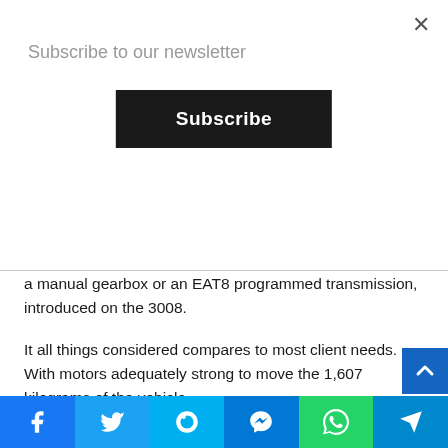Subscribe to our newsletter
Subscribe
a manual gearbox or an EAT8 programmed transmission, introduced on the 3008.
It all things considered compares to most client needs. With motors adequately strong to move the 1,607 kilograms of the vehicle.
As far as concerns us, we chose to jump in the driver's seat of the rendition furnished with PureTech 180 pull. Related with the eight-speed programmed transmission that had as of now persuaded us during